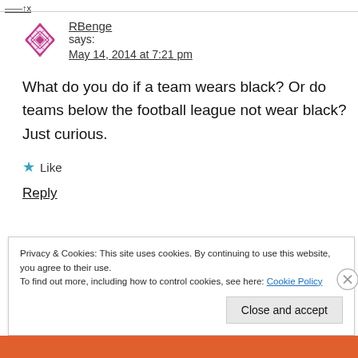___↑x
RBenge says:
May 14, 2014 at 7:21 pm
What do you do if a team wears black? Or do teams below the football league not wear black? Just curious.
★ Like
Reply
Privacy & Cookies: This site uses cookies. By continuing to use this website, you agree to their use.
To find out more, including how to control cookies, see here: Cookie Policy
Close and accept